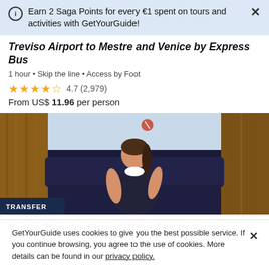Earn 2 Saga Points for every €1 spent on tours and activities with GetYourGuide!
Treviso Airport to Mestre and Venice by Express Bus
1 hour · Skip the line · Access by Foot
4.7 (2,979)
From US$ 11.96 per person
[Figure (photo): Photo of a smiling young woman sitting in a wooden water taxi boat with blue leather seats, with a TRANSFER badge overlay]
Venice Transfer-Shared Water Taxi to Airport
40 minutes
GetYourGuide uses cookies to give you the best possible service. If you continue browsing, you agree to the use of cookies. More details can be found in our privacy policy.